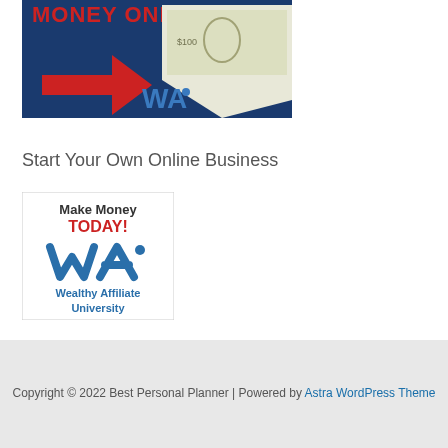[Figure (illustration): Banner image with red text 'MONEY ONLINE', a red arrow, dollar bill curling, and Wealthy Affiliate WA logo on a blue background]
Start Your Own Online Business
[Figure (logo): Wealthy Affiliate University logo with text 'Make Money TODAY!' in red/black and 'Wealthy Affiliate University' in blue with WA logo icon]
Copyright © 2022 Best Personal Planner | Powered by Astra WordPress Theme